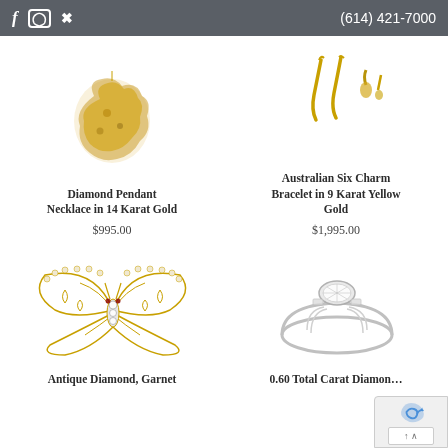f  instagram  pinterest    (614) 421-7000
[Figure (photo): Diamond Pendant Necklace in 14 Karat Gold jewelry photo - gold nugget style pendant]
Diamond Pendant Necklace in 14 Karat Gold
$995.00
[Figure (photo): Australian Six Charm Bracelet in 9 Karat Yellow Gold - gold charms/earrings photo]
Australian Six Charm Bracelet in 9 Karat Yellow Gold
$1,995.00
[Figure (photo): Antique Diamond Garnet butterfly brooch in gold with pearl border]
Antique Diamond, Garnet
[Figure (photo): 0.60 Total Carat Diamond ring in white gold - solitaire style ring]
0.60 Total Carat Diamon…